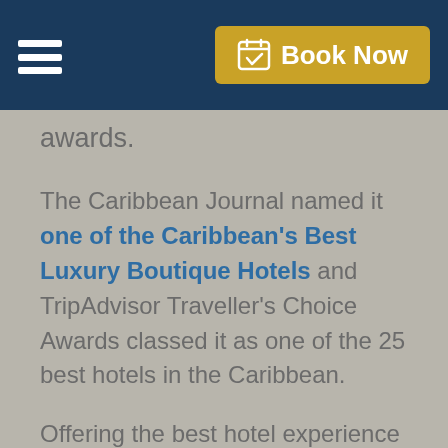Book Now
awards.
The Caribbean Journal named it one of the Caribbean's Best Luxury Boutique Hotels and TripAdvisor Traveller's Choice Awards classed it as one of the 25 best hotels in the Caribbean.
Offering the best hotel experience possible L'Esplanade has won both a dedicated following of repeat guests and year after